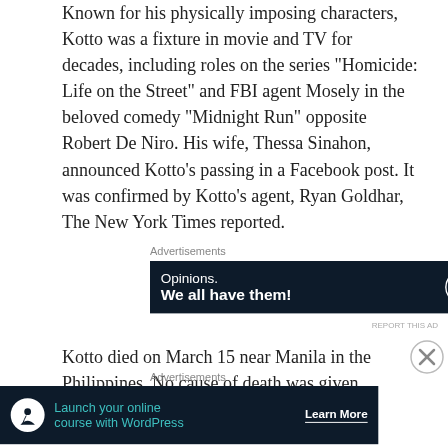Known for his physically imposing characters, Kotto was a fixture in movie and TV for decades, including roles on the series “Homicide: Life on the Street” and FBI agent Mosely in the beloved comedy “Midnight Run” opposite Robert De Niro. His wife, Thessa Sinahon, announced Kotto’s passing in a Facebook post. It was confirmed by Kotto’s agent, Ryan Goldhar, The New York Times reported.
[Figure (other): Advertisement banner: dark navy background with text 'Opinions. We all have them!' and WordPress logo and another circular logo.]
Kotto died on March 15 near Manila in the Philippines. No cause of death was given.
Prince Philip, Duke of Edinburgh age 99
[Figure (other): Advertisement banner: dark navy background with tree/person icon, text 'Launch your online course with WordPress' in teal, and 'Learn More' button.]